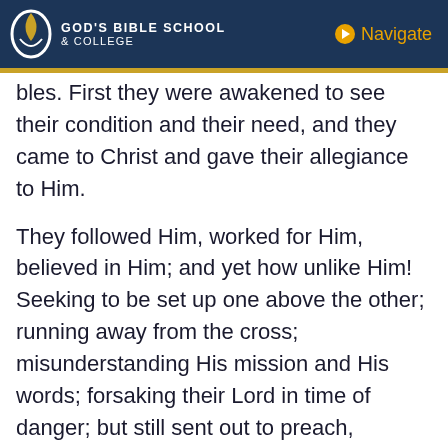God's Bible School & College | Navigate
bles. First they were awakened to see their condition and their need, and they came to Christ and gave their allegiance to Him.
They followed Him, worked for Him, believed in Him; and yet how unlike Him! Seeking to be set up one above the other; running away from the cross; misunderstanding His mission and His words; forsaking their Lord in time of danger; but still sent out to preach, recognized by Him as His disciples, possessing a power to work for Him.